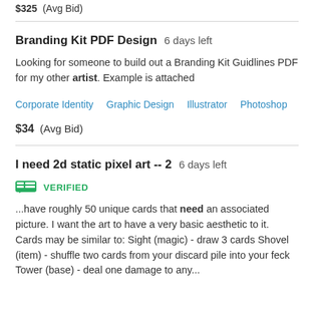$325  (Avg Bid)
Branding Kit PDF Design  6 days left
Looking for someone to build out a Branding Kit Guidlines PDF for my other artist. Example is attached
Corporate Identity   Graphic Design   Illustrator   Photoshop
$34  (Avg Bid)
I need 2d static pixel art -- 2  6 days left
VERIFIED
...have roughly 50 unique cards that need an associated picture. I want the art to have a very basic aesthetic to it. Cards may be similar to: Sight (magic) - draw 3 cards Shovel (item) - shuffle two cards from your discard pile into your feck Tower (base) - deal one damage to any...